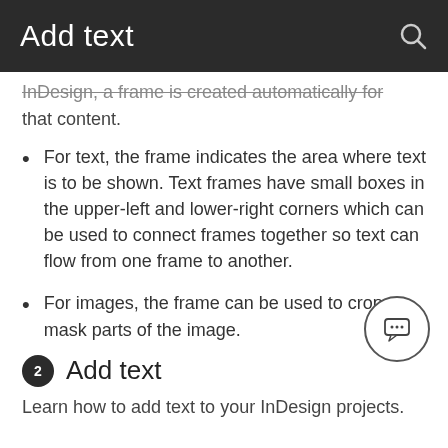Add text
InDesign, a frame is created automatically for that content.
For text, the frame indicates the area where text is to be shown. Text frames have small boxes in the upper-left and lower-right corners which can be used to connect frames together so text can flow from one frame to another.
For images, the frame can be used to crop or mask parts of the image.
2 Add text
Learn how to add text to your InDesign projects.